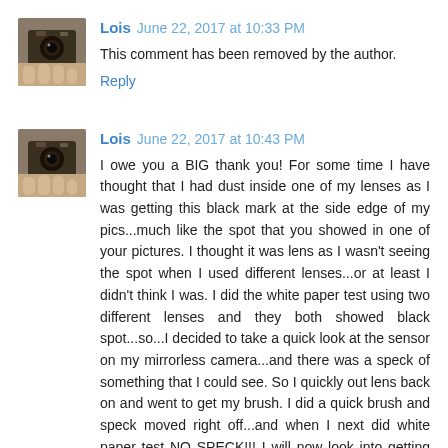Lois  June 22, 2017 at 10:33 PM
This comment has been removed by the author.
Reply
Lois  June 22, 2017 at 10:43 PM
I owe you a BIG thank you! For some time I have thought that I had dust inside one of my lenses as I was getting this black mark at the side edge of my pics...much like the spot that you showed in one of your pictures. I thought it was lens as I wasn't seeing the spot when I used different lenses...or at least I didn't think I was. I did the white paper test using two different lenses and they both showed black spot...so...I decided to take a quick look at the sensor on my mirrorless camera...and there was a speck of something that I could see. So I quickly out lens back on and went to get my brush. I did a quick brush and speck moved right off...and when I next did white paper test NO SPECK!!! I will now look into getting the gummy stick to give my two mirrorless cameras sensors a good cleaning!